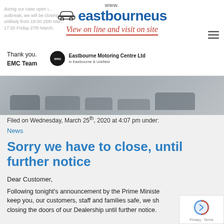www. eastbourneus — View on line and visit on site
Thank you.
EMC Team
[Figure (photo): Eastbourne Motoring Centre Ltd dealership photo in greyscale showing cars parked outside a car showroom]
Filed on Wednesday, March 25th, 2020 at 4:07 pm under:
News
Sorry we have to close, until further notice
Dear Customer,
Following tonight's announcement by the Prime Minister, to keep you, our customers, staff and families safe, we shall be closing the doors of our Dealership until further notice.